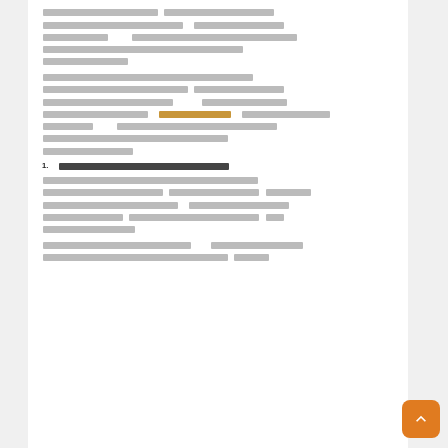[Thai text paragraph 1 - body text with justified alignment]
[Thai text paragraph 2 - body text with highlighted link text in orange/gold color]
1. [Thai text numbered list item]
[Thai text paragraph 3 - body text]
[Thai text paragraph 4 - body text continuing]